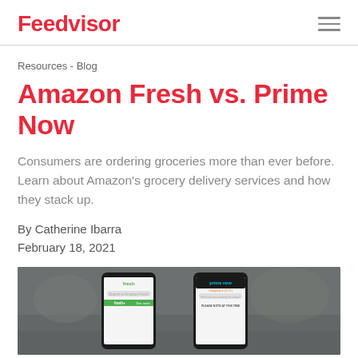Feedvisor
Resources - Blog
Amazon Fresh vs. Prime Now
Consumers are ordering groceries more than ever before. Learn about Amazon's grocery delivery services and how they stack up.
By Catherine Ibarra
February 18, 2021
[Figure (photo): Two smartphones side by side showing Amazon Fresh and Prime Now app interfaces against a blurred kitchen background]